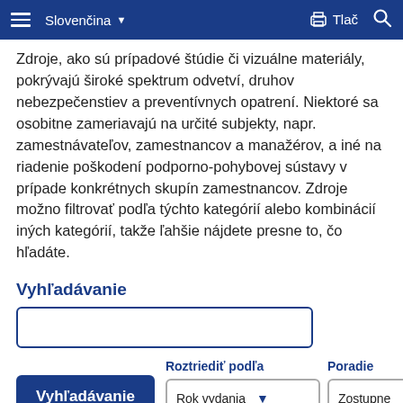Slovenčina | Tlač
Zdroje, ako sú prípadové štúdie či vizuálne materiály, pokrývajú široké spektrum odvetví, druhov nebezpečenstiev a preventívnych opatrení. Niektoré sa osobitne zameriavajú na určité subjekty, napr. zamestnávateľov, zamestnancov a manažérov, a iné na riadenie poškodení podporno-pohybovej sústavy v prípade konkrétnych skupín zamestnancov. Zdroje možno filtrovať podľa týchto kategórií alebo kombinácií iných kategórií, takže ľahšie nájdete presne to, čo hľadáte.
Vyhľadávanie
Roztriediť podľa
Poradie
Vyhľadávanie
Rok vydania
Zostupne